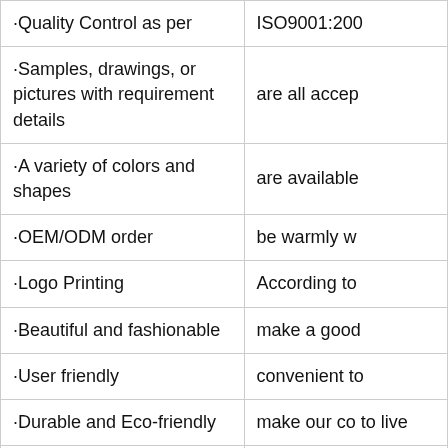| ·Quality Control as per | ISO9001:200 |
| ·Samples, drawings, or pictures with requirement details | are all accep |
| ·A variety of colors and shapes | are available |
| ·OEM/ODM order | be warmly w |
| ·Logo Printing | According to |
| ·Beautiful and fashionable | make a good |
| ·User friendly | convenient to |
| ·Durable and Eco-friendly | make our co to live |
| ·Protect your product | from dust, sc |
| ·High quality material | from Dow Co other famous |